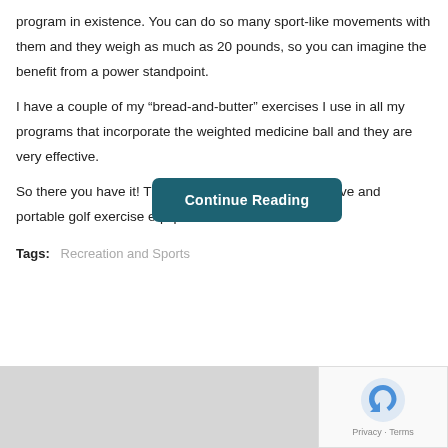program in existence. You can do so many sport-like movements with them and they weigh as much as 20 pounds, so you can imagine the benefit from a power standpoint.
I have a couple of my “bread-and-butter” exercises I use in all my programs that incorporate the weighted medicine ball and they are very effective.
So there you have it! Three or four pieces of inexpensive and portable golf exercise equipment
Continue Reading
Tags: Recreation and Sports